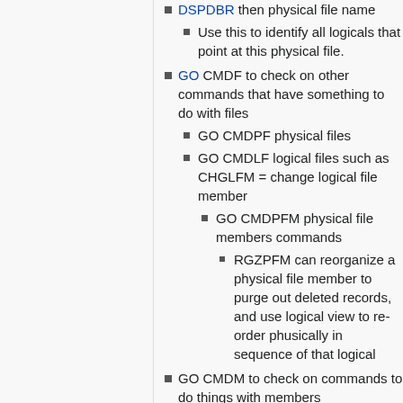DSPDBR then physical file name
Use this to identify all logicals that point at this physical file.
GO CMDF to check on other commands that have something to do with files
GO CMDPF physical files
GO CMDLF logical files such as CHGLFM = change logical file member
GO CMDPFM physical file members commands
RGZPFM can reorganize a physical file member to purge out deleted records, and use logical view to re-order phusically in sequence of that logical
GO CMDM to check on commands to do things with members
Pages in category "Commands"
The following 38 pages are in this category, out